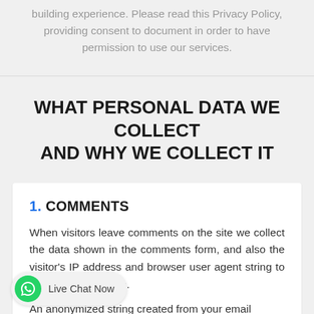building experience. Please read this Privacy Policy, providing consent to document in order to have permission to use our services.
WHAT PERSONAL DATA WE COLLECT AND WHY WE COLLECT IT
1. COMMENTS
When visitors leave comments on the site we collect the data shown in the comments form, and also the visitor's IP address and browser user agent string to help spam detection.
An anonymized string created from your email